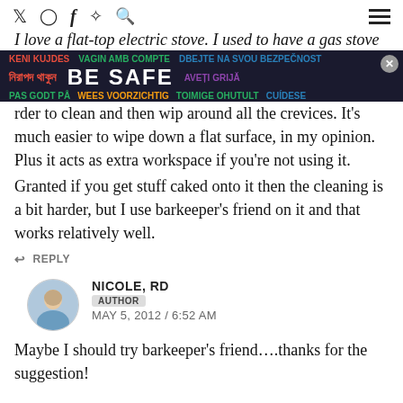Social media and navigation icons
[Figure (other): BE SAFE multilingual advertisement banner with close button]
I love a flat-top electric stove. I used to have a gas stove and it was harder to clean and then wip around all the crevices. It's much easier to wipe down a flat surface, in my opinion. Plus it acts as extra workspace if you're not using it. Granted if you get stuff caked onto it then the cleaning is a bit harder, but I use barkeeper's friend on it and that works relatively well.
↩ REPLY
NICOLE, RD AUTHOR MAY 5, 2012 / 6:52 AM
Maybe I should try barkeeper's friend….thanks for the suggestion!